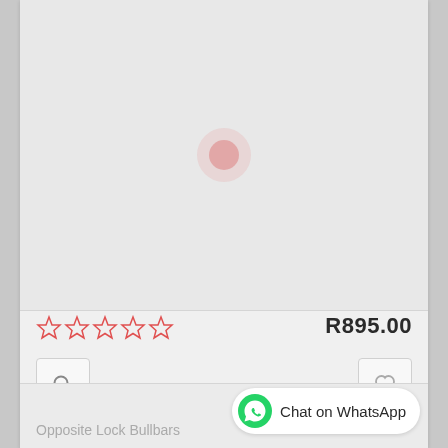[Figure (other): Product image placeholder with loading spinner circle in the center on a light grey background]
★★★★★ (empty stars rating)
R895.00
[Figure (other): Search/magnify icon button]
[Figure (other): Heart/wishlist icon button]
Opposite Lock Bullbars
[Figure (other): WhatsApp Chat button with green WhatsApp logo and text 'Chat on WhatsApp']